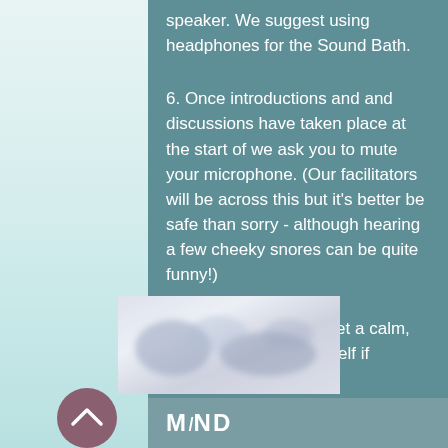speaker. We suggest using headphones for the Sound Bath.
6. Once introductions and and discussions have taken place at the start of we ask you to mute your microphone. (Our facilitators will be across this but it's better be safe than sorry - although hearing a few cheeky snores can be quite funny!)
7. Before you tune in set a calm, sacred space for yourself if possible.
[Figure (photo): Blurred photograph, likely of sound bath instruments or a person, with soft blue and white tones]
[Figure (logo): MIND logo with upward chevron arrow in a mauve/purple circle, white text MIND on teal background]